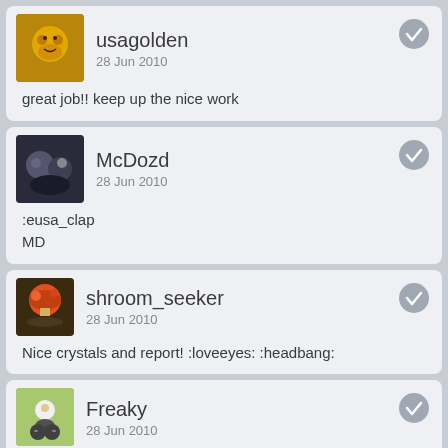usagolden
28 Jun 2010
great job!! keep up the nice work
McDozd
28 Jun 2010
:eusa_clap
MD
shroom_seeker
28 Jun 2010
Nice crystals and report! :loveeyes: :headbang:
Freaky
28 Jun 2010
mydarling said
mind if i move this to storming the gates, or botanicals? :D